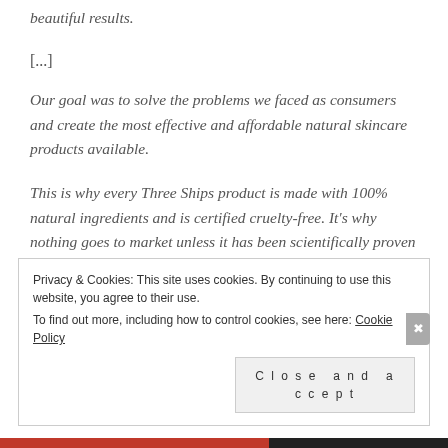beautiful results.
[...]
Our goal was to solve the problems we faced as consumers and create the most effective and affordable natural skincare products available.
This is why every Three Ships product is made with 100% natural ingredients and is certified cruelty-free. It's why nothing goes to market unless it has been scientifically proven to work. And it's why all of our products will forever be under $40 USD.
Privacy & Cookies: This site uses cookies. By continuing to use this website, you agree to their use.
To find out more, including how to control cookies, see here: Cookie Policy
Close and accept